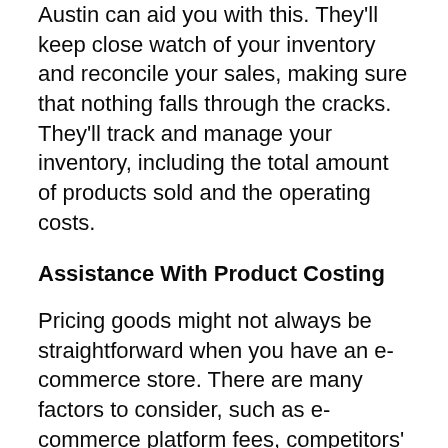Austin can aid you with this. They'll keep close watch of your inventory and reconcile your sales, making sure that nothing falls through the cracks. They'll track and manage your inventory, including the total amount of products sold and the operating costs.
Assistance With Product Costing
Pricing goods might not always be straightforward when you have an e-commerce store. There are many factors to consider, such as e-commerce platform fees, competitors' pricing, and discounts. An e-commerce CPA will evaluate every aspect that can affect your bottom line and help you determine the ideal product costing that